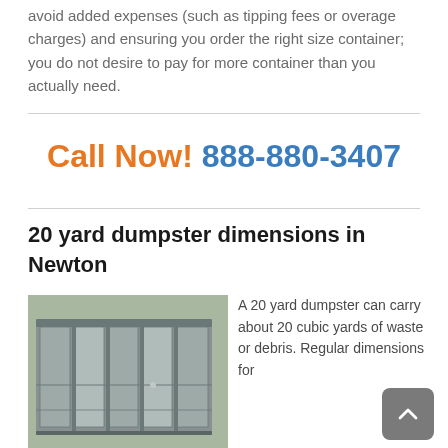avoid added expenses (such as tipping fees or overage charges) and ensuring you order the right size container; you do not desire to pay for more container than you actually need.
Call Now! 888-880-3407
20 yard dumpster dimensions in Newton
[Figure (photo): Photo of a large gray steel 20-yard dumpster container outdoors]
A 20 yard dumpster can carry about 20 cubic yards of waste or debris. Regular dimensions for